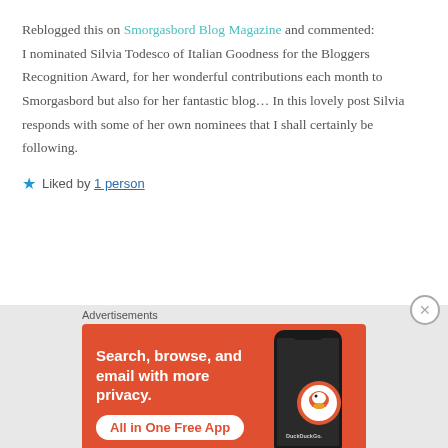Reblogged this on Smorgasbord Blog Magazine and commented:
I nominated Silvia Todesco of Italian Goodness for the Bloggers Recognition Award, for her wonderful contributions each month to Smorgasbord but also for her fantastic blog... In this lovely post Silvia responds with some of her own nominees that I shall certainly be following.
★ Liked by 1 person
[Figure (other): DuckDuckGo advertisement banner with orange background. Text reads: 'Search, browse, and email with more privacy. All in One Free App' with DuckDuckGo logo and phone graphic.]